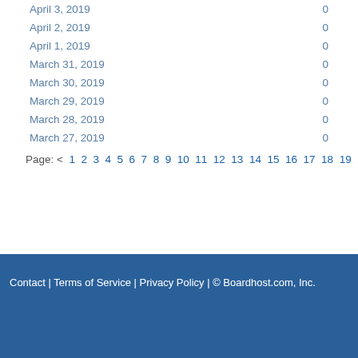| Date | Count |
| --- | --- |
| April 3, 2019 | 0 |
| April 2, 2019 | 0 |
| April 1, 2019 | 0 |
| March 31, 2019 | 0 |
| March 30, 2019 | 0 |
| March 29, 2019 | 0 |
| March 28, 2019 | 0 |
| March 27, 2019 | 0 |
Page: < 1 2 3 4 5 6 7 8 9 10 11 12 13 14 15 16 17 18 19 20 21 22 23 24 25 26 …
Contact | Terms of Service | Privacy Policy | © Boardhost.com, Inc.